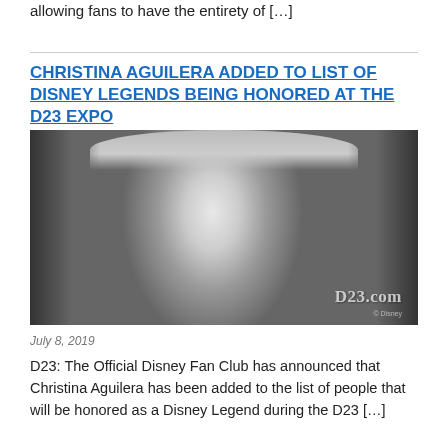allowing fans to have the entirety of […]
CHRISTINA AGUILERA ADDED TO LIST OF DISNEY LEGENDS BEING HONORED AT THE D23 EXPO
[Figure (photo): Black and white portrait photo of Christina Aguilera with blonde hair and bangs, with D23.com watermark in bottom right corner]
July 8, 2019
D23: The Official Disney Fan Club has announced that Christina Aguilera has been added to the list of people that will be honored as a Disney Legend during the D23 […]